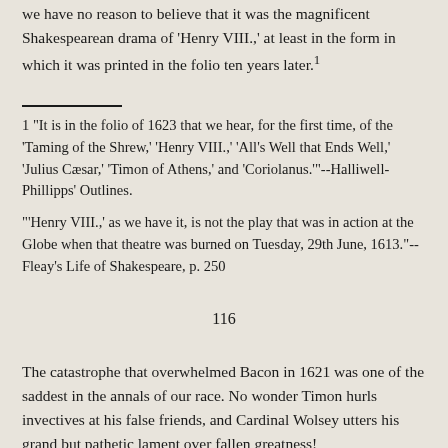we have no reason to believe that it was the magnificent Shakespearean drama of 'Henry VIII.,' at least in the form in which it was printed in the folio ten years later.1
1 "It is in the folio of 1623 that we hear, for the first time, of the 'Taming of the Shrew,' 'Henry VIII.,' 'All's Well that Ends Well,' 'Julius Cæsar,' 'Timon of Athens,' and 'Coriolanus.'"--Halliwell-Phillipps' Outlines.

"'Henry VIII.,' as we have it, is not the play that was in action at the Globe when that theatre was burned on Tuesday, 29th June, 1613."--Fleay's Life of Shakespeare, p. 250
116
The catastrophe that overwhelmed Bacon in 1621 was one of the saddest in the annals of our race. No wonder Timon hurls invectives at his false friends, and Cardinal Wolsey utters his grand but pathetic lament over fallen greatness!